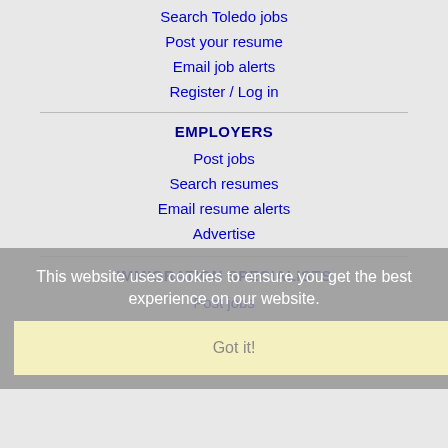Search Toledo jobs
Post your resume
Email job alerts
Register / Log in
EMPLOYERS
Post jobs
Search resumes
Email resume alerts
Advertise
This website uses cookies to ensure you get the best experience on our website.
IMMIGRATION SPECIALISTS
Post jobs
Immigration FAQs
Learn more